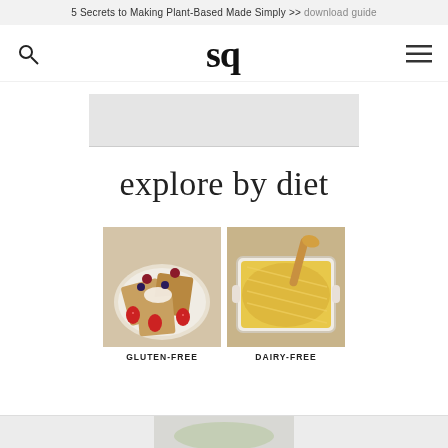5 Secrets to Making Plant-Based Made Simply >> download guide
[Figure (logo): sq logo - stylized lowercase letters 'sq' in bold serif font, with search icon on left and hamburger menu icon on right]
[Figure (other): Gray advertisement placeholder rectangle with horizontal divider line]
explore by diet
[Figure (photo): Photo of gluten-free french toast with strawberries, blackberries and cream on a white plate]
GLUTEN-FREE
[Figure (photo): Photo of dairy-free casserole dish with golden cheesy-looking topping being scooped with a wooden spoon]
DAIRY-FREE
[Figure (photo): Partial view of additional diet category photos at bottom of page]